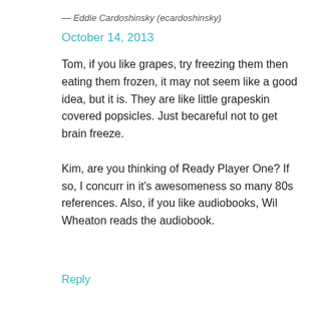— Eddie Cardoshinsky (ecardoshinsky)
October 14, 2013
Tom, if you like grapes, try freezing them then eating them frozen, it may not seem like a good idea, but it is. They are like little grapeskin covered popsicles. Just becareful not to get brain freeze.

Kim, are you thinking of Ready Player One? If so, I concurr in it's awesomeness so many 80s references. Also, if you like audiobooks, Wil Wheaton reads the audiobook.
Reply